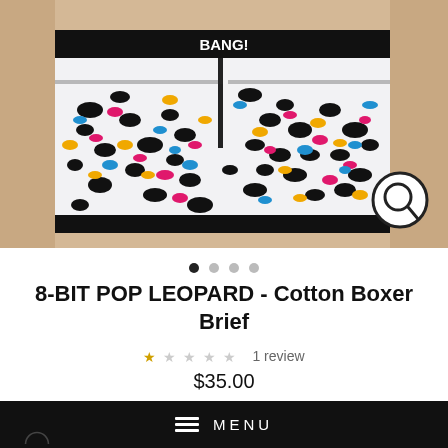[Figure (photo): Product photo of BANG! 8-BIT POP LEOPARD Cotton Boxer Brief – colorful leopard print pattern in pink, blue, yellow, and black on white fabric with black waistband showing 'BANG!' text. A magnifying glass zoom icon appears in the lower right corner.]
• • • •
8-BIT POP LEOPARD - Cotton Boxer Brief
1 review
$35.00
MENU